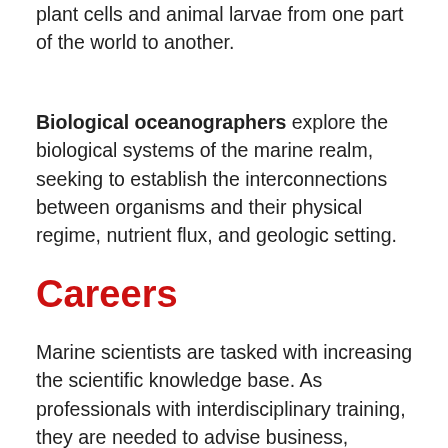plant cells and animal larvae from one part of the world to another.
Biological oceanographers explore the biological systems of the marine realm, seeking to establish the interconnections between organisms and their physical regime, nutrient flux, and geologic setting.
Careers
Marine scientists are tasked with increasing the scientific knowledge base. As professionals with interdisciplinary training, they are needed to advise business, industry and governments on the potential impact of human activities and the wise use of marine resources.